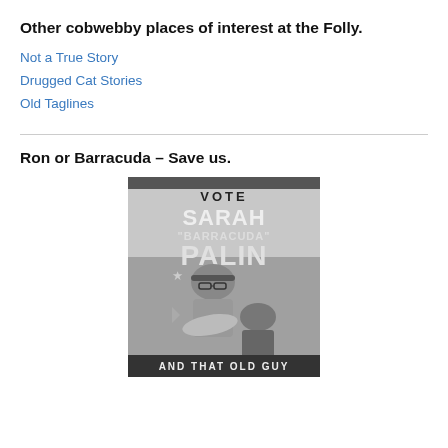Other cobwebby places of interest at the Folly.
Not a True Story
Drugged Cat Stories
Old Taglines
Ron or Barracuda – Save us.
[Figure (photo): Black and white campaign-style poster reading 'VOTE SARAH "BARRACUDA" PALIN AND THAT OLD GUY' featuring a woman in a cap holding a large fish and an older man in a suit behind her.]